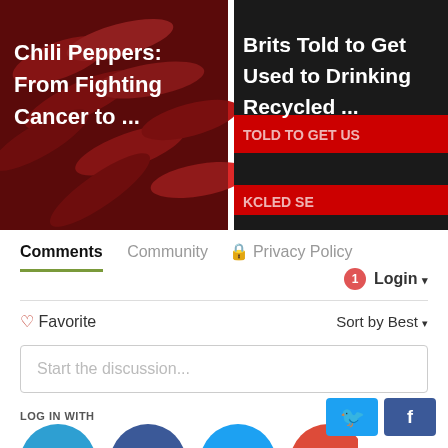[Figure (screenshot): Two article thumbnail images side by side. Left: red chili peppers with white text 'Chili Peppers: From Fighting Cancer to ...'. Right: dark image with white/red text 'Brits Told to Get Used to Drinking Recycled ...' with overlaid text 'TOLD TO GET US' and 'KCLED SE'.]
Comments    Community    Privacy Policy
Login ▾
♡ Favorite    Sort by Best ▾
Start the discussion...
LOG IN WITH
[Figure (screenshot): Social login icons: Disqus (blue speech bubble with D), Facebook (blue circle with f), Twitter (light blue circle with bird), Google (red circle with G)]